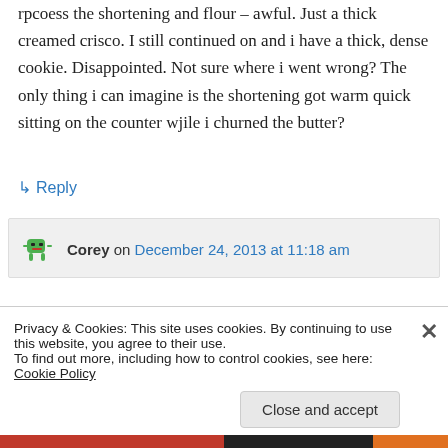rpcoess the shortening and flour – awful. Just a thick creamed crisco. I still continued on and i have a thick, dense cookie. Disappointed. Not sure where i went wrong? The only thing i can imagine is the shortening got warm quick sitting on the counter wjile i churned the butter?
↳ Reply
Corey on December 24, 2013 at 11:18 am
Privacy & Cookies: This site uses cookies. By continuing to use this website, you agree to their use.
To find out more, including how to control cookies, see here: Cookie Policy
Close and accept